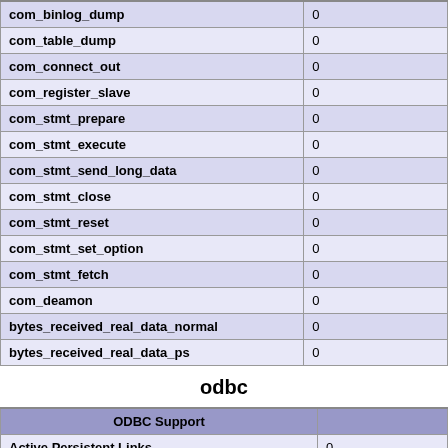| Variable | Value |
| --- | --- |
| com_binlog_dump | 0 |
| com_table_dump | 0 |
| com_connect_out | 0 |
| com_register_slave | 0 |
| com_stmt_prepare | 0 |
| com_stmt_execute | 0 |
| com_stmt_send_long_data | 0 |
| com_stmt_close | 0 |
| com_stmt_reset | 0 |
| com_stmt_set_option | 0 |
| com_stmt_fetch | 0 |
| com_deamon | 0 |
| bytes_received_real_data_normal | 0 |
| bytes_received_real_data_ps | 0 |
odbc
| ODBC Support |  |
| --- | --- |
| Active Persistent Links | 0 |
| Active Links | 0 |